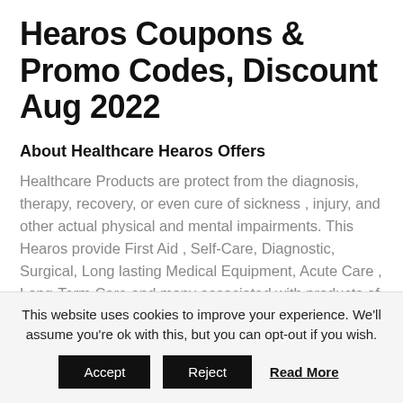Hearos Coupons & Promo Codes, Discount Aug 2022
About Healthcare Hearos Offers
Healthcare Products are protect from the diagnosis, therapy, recovery, or even cure of sickness , injury, and other actual physical and mental impairments. This Hearos provide First Aid , Self-Care, Diagnostic, Surgical, Long lasting Medical Equipment, Acute Care , Long-Term Care and many associated with products of different brand . Save up to 60% Offer discounts on amazon with Hearos coupon Code. Available on amazon best quality Hearos health care product at
This website uses cookies to improve your experience. We'll assume you're ok with this, but you can opt-out if you wish.